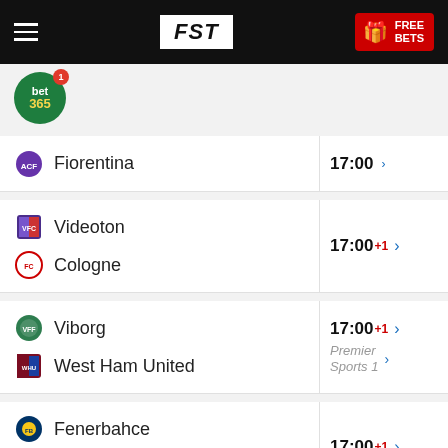FST | FREE BETS
[Figure (logo): bet365 circular green logo with notification badge]
Fiorentina — 17:00 >
Videoton vs Cologne — 17:00 +1 >
Viborg vs West Ham United — 17:00 +1 > Premier Sports 1 >
Fenerbahce vs FK Austria Vi... — 17:00 +1 >